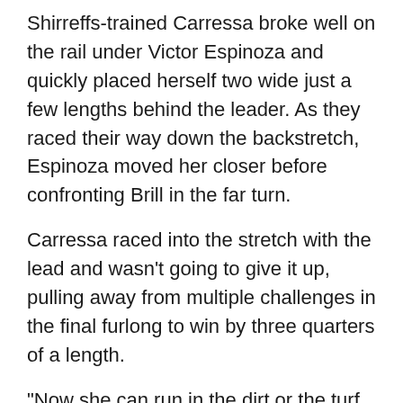Shirreffs-trained Carressa broke well on the rail under Victor Espinoza and quickly placed herself two wide just a few lengths behind the leader. As they raced their way down the backstretch, Espinoza moved her closer before confronting Brill in the far turn.
Carressa raced into the stretch with the lead and wasn't going to give it up, pulling away from multiple challenges in the final furlong to win by three quarters of a length.
“Now she can run in the dirt or the turf so they have many races to run, she’s been impressive and she is on her game. When a horse is getting good and starts winning it’s hard to get beat, they don’t come very often like Carressa that can run on both surfaces,” Espinoza said.
Owned by Mercedes Stables, West Point Thoroughbred, Scott Dilworth, Dorothy Ingordo, David Ingordo, and Steve